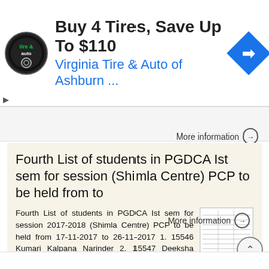[Figure (screenshot): Advertisement banner for Virginia Tire & Auto of Ashburn with logo and blue arrow icon. Text: Buy 4 Tires, Save Up To $110 / Virginia Tire & Auto of Ashburn ...]
More information →
Fourth List of students in PGDCA Ist sem for session (Shimla Centre) PCP to be held from to
Fourth List of students in PGDCA Ist sem for session 2017-2018 (Shimla Centre) PCP to be held from 17-11-2017 to 26-11-2017 1. 15546 Kumari Kalpana Narinder 2. 15547 Deeksha Thakur Prakash Chand Thakur
More information →